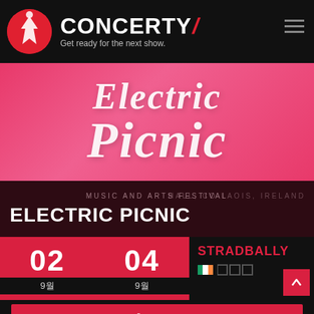[Figure (logo): Concerty app logo with red circle and stylized Y figure, brand name CONCERTY with red slash, tagline 'Get ready for the next show.']
[Figure (photo): Pink/red gradient banner with Electric Picnic festival name in white italic script font]
MUSIC AND ARTS FESTIVAL
HALL, CO LAOIS, IRELAND
ELECTRIC PICNIC
02   04
90   90
STRADBALLY
[Figure (infographic): Irish flag emoji followed by three checkbox squares]
구매
호텔 찾기